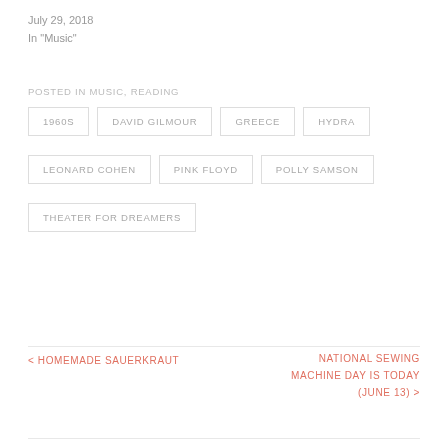July 29, 2018
In "Music"
POSTED IN MUSIC, READING
1960S
DAVID GILMOUR
GREECE
HYDRA
LEONARD COHEN
PINK FLOYD
POLLY SAMSON
THEATER FOR DREAMERS
< HOMEMADE SAUERKRAUT
NATIONAL SEWING MACHINE DAY IS TODAY (JUNE 13) >